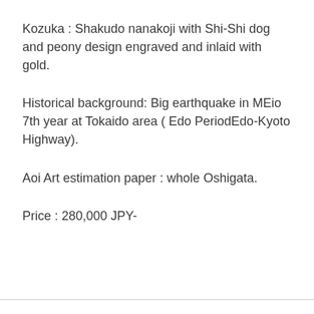Kozuka : Shakudo nanakoji with Shi-Shi dog and peony design engraved and inlaid with gold.
Historical background: Big earthquake in MEio 7th year at Tokaido area ( Edo PeriodEdo-Kyoto Highway).
Aoi Art estimation paper : whole Oshigata.
Price : 280,000 JPY-